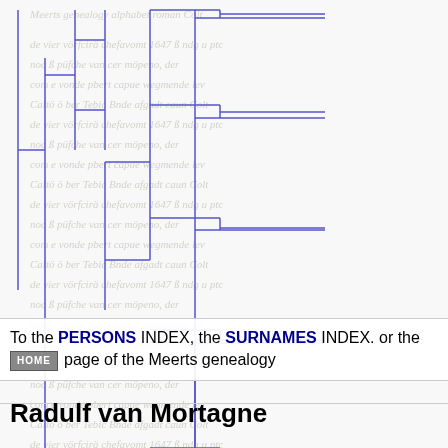[Figure (other): Genealogy/pedigree tree diagram with blue bracket-style ancestry lines on a background of faded historical manuscript text]
To the PERSONS INDEX, the SURNAMES INDEX. or the HOME page of the Meerts genealogy
Radulf van Mortagne